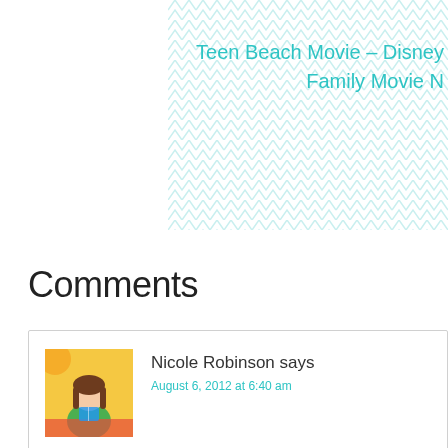[Figure (illustration): Teal/cyan chevron pattern background in upper right area of page]
Teen Beach Movie – Disney Family Movie N
Comments
Nicole Robinson says
August 6, 2012 at 6:40 am
Sadly, I never heard of The Lorax until the movie came out. And I re
Reply
Nichol says
August 6, 2012 at 8:09 am